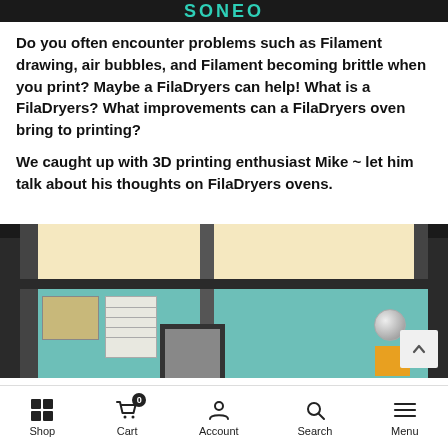SoNEo
Do you often encounter problems such as Filament drawing, air bubbles, and Filament becoming brittle when you print? Maybe a FilaDryers can help! What is a FilaDryers? What improvements can a FilaDryers oven bring to printing?
We caught up with 3D printing enthusiast Mike ~ let him talk about his thoughts on FilaDryers ovens.
[Figure (photo): Interior photo of a workshop/room with metal shelving, teal/turquoise walls, ceiling with warm lighting, a map on the wall, window blinds, a discoball, and various equipment.]
Shop  Cart 0  Account  Search  Menu